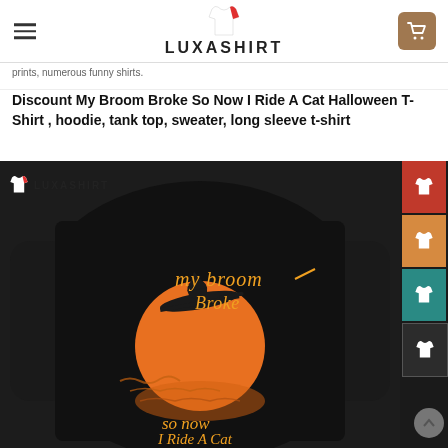LUXASHIRT
prints, numerous funny shirts.
Discount My Broom Broke So Now I Ride A Cat Halloween T-Shirt , hoodie, tank top, sweater, long sleeve t-shirt
[Figure (photo): Person wearing a black Halloween t-shirt with orange text 'my broom Broke so now I Ride A Cat' and a witch riding a cat over a full moon design. LuxaShirt watermark visible. Color swatch buttons on the right side (red, orange, teal, dark).]